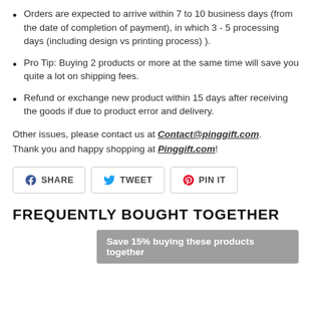Orders are expected to arrive within 7 to 10 business days (from the date of completion of payment), in which 3 - 5 processing days (including design vs printing process) ).
Pro Tip: Buying 2 products or more at the same time will save you quite a lot on shipping fees.
Refund or exchange new product within 15 days after receiving the goods if due to product error and delivery.
Other issues, please contact us at Contact@pinggift.com. Thank you and happy shopping at Pinggift.com!
[Figure (infographic): Social share buttons: Facebook SHARE, Twitter TWEET, Pinterest PIN IT]
FREQUENTLY BOUGHT TOGETHER
Save 15% buying these products together